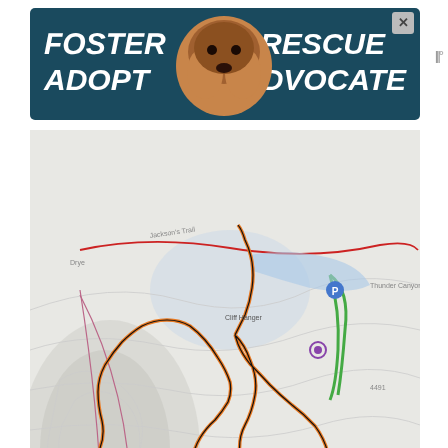[Figure (infographic): Advertisement banner: teal/dark blue background with bold white italic text FOSTER ADOPT on left, RESCUE ADVOCATE on right, dog photo in center, close X button top right]
[Figure (map): Topographic trail map showing Captain Ahab Loop trail route highlighted in orange/yellow with black outline, overlaid on grey shaded relief map with other trails shown in red, pink, green and dashed lines. Heart/favorite button bottom left.]
Captain Ahab Loop
[Figure (infographic): Bottom advertisement: Back To School Essentials - Leesburg Premium Outlets, with navigation arrow icon, share icon, and close X button]